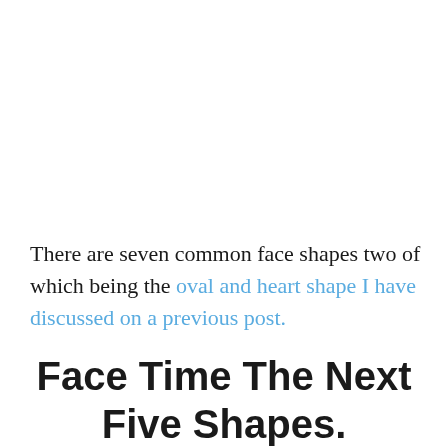There are seven common face shapes two of which being the oval and heart shape I have discussed on a previous post.
Face Time The Next Five Shapes.